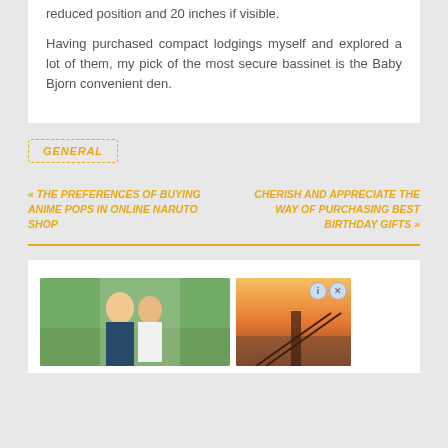reduced position and 20 inches if visible.
Having purchased compact lodgings myself and explored a lot of them, my pick of the most secure bassinet is the Baby Bjorn convenient den.
GENERAL
« THE PREFERENCES OF BUYING ANIME POPS IN ONLINE NARUTO SHOP
CHERISH AND APPRECIATE THE WAY OF PURCHASING BEST BIRTHDAY GIFTS »
[Figure (photo): Two people smiling outdoors with a building in background, and a second image showing a sunset over water with a bridge silhouette]